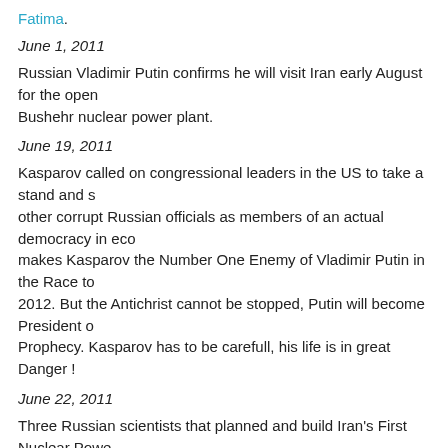Fatima.
June 1, 2011
Russian Vladimir Putin confirms he will visit Iran early August for the opening of the Bushehr nuclear power plant.
June 19, 2011
Kasparov called on congressional leaders in the US to take a stand and sanction Putin and other corrupt Russian officials as members of an actual democracy in economic crisis. This makes Kasparov the Number One Enemy of Vladimir Putin in the Race to become President in 2012. But the Antichrist cannot be stopped, Putin will become President of Russia as per Prophecy. Kasparov has to be carefull, his life is in great Danger !
June 22, 2011
Three Russian scientists that planned and build Iran's First Nuclear Power Plant died, all three at the same time.
June 24, 2011
August 21 2011. Putin suggests the idea of a Eurasian Economic Union.
Sept 01, 2011